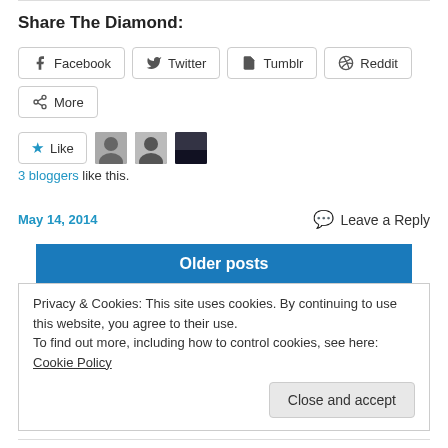Share The Diamond:
[Figure (other): Row of social share buttons: Facebook, Twitter, Tumblr, Reddit, More]
[Figure (other): Like button with star icon and three blogger avatars]
3 bloggers like this.
May 14, 2014
Leave a Reply
Older posts
Privacy & Cookies: This site uses cookies. By continuing to use this website, you agree to their use. To find out more, including how to control cookies, see here: Cookie Policy
Close and accept